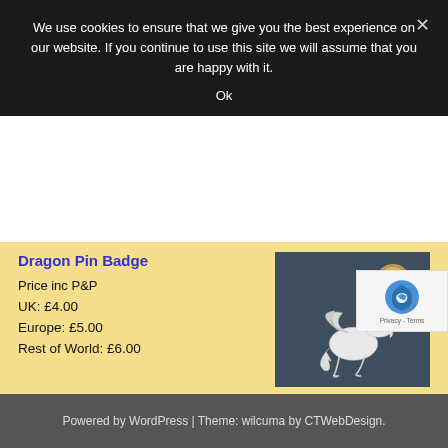We use cookies to ensure that we give you the best experience on our website. If you continue to use this site we will assume that you are happy with it.
Ok
Dragon Pin Badge
Price inc P&P
UK: £4.00
Europe: £5.00
Rest of World: £6.00
[Figure (photo): Silver dragon pin badge on dark blue background, showing pin fastener at top right and dragon figure in centre]
Your Shopping Cart
Your cart is empty
Visit The Shop
Powered by WordPress | Theme: wilcuma by CTWebDesign.